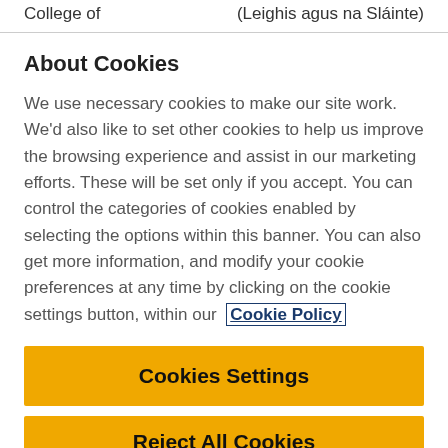College of      (Leighis agus na Sláinte)
About Cookies
We use necessary cookies to make our site work. We'd also like to set other cookies to help us improve the browsing experience and assist in our marketing efforts. These will be set only if you accept. You can control the categories of cookies enabled by selecting the options within this banner. You can also get more information, and modify your cookie preferences at any time by clicking on the cookie settings button, within our Cookie Policy
Cookies Settings
Reject All Cookies